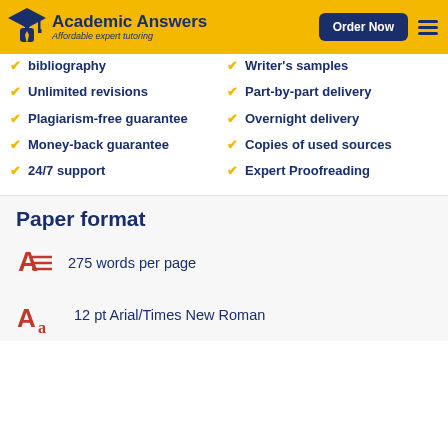Academic Answers — Affordable expert tutoring | Order Now
bibliography
Unlimited revisions
Plagiarism-free guarantee
Money-back guarantee
24/7 support
Writer's samples
Part-by-part delivery
Overnight delivery
Copies of used sources
Expert Proofreading
Paper format
275 words per page
12 pt Arial/Times New Roman